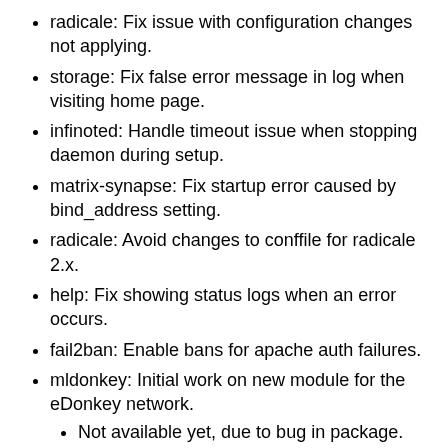radicale: Fix issue with configuration changes not applying.
storage: Fix false error message in log when visiting home page.
infinoted: Handle timeout issue when stopping daemon during setup.
matrix-synapse: Fix startup error caused by bind_address setting.
radicale: Avoid changes to conffile for radicale 2.x.
help: Fix showing status logs when an error occurs.
fail2ban: Enable bans for apache auth failures.
mldonkey: Initial work on new module for the eDonkey network.
Not available yet, due to bug in package.
Version 0.47.0 (2019-01-14)
Show Gujarati in the list of languages.